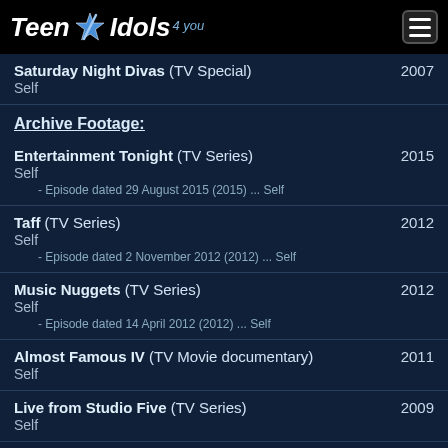Teen Idols 4 You
Saturday Night Divas (TV Special) 2007
Self
Archive Footage:
Entertainment Tonight (TV Series) 2015
Self
- Episode dated 29 August 2015 (2015) ... Self
Taff (TV Series) 2012
Self
- Episode dated 2 November 2012 (2012) ... Self
Music Nuggets (TV Series) 2012
Self
- Episode dated 14 April 2012 (2012) ... Self
Almost Famous IV (TV Movie documentary) 2011
Self
Live from Studio Five (TV Series) 2009
Self